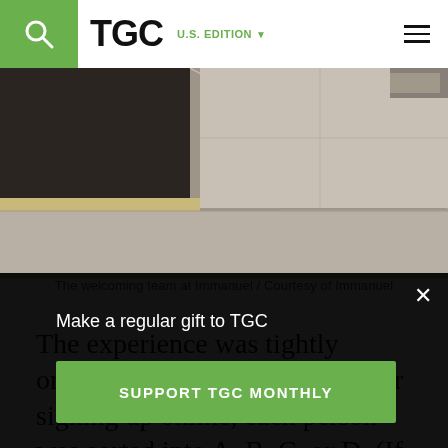TGC U.S. EDITION
[Figure (photo): Close-up photo of concrete pavement/steps with a dark mat or board edge visible at the top left, and light grey stone slabs below.]
The welcoming team at Immanuel / Courtesy of Immanuel
The experience was tightly organized and color coded. After signing up online, each person was sorted into A, B, C, or D. (If you were an A, you were asked to park in the A
Make a regular gift to TGC
SUPPORT TGC MONTHLY